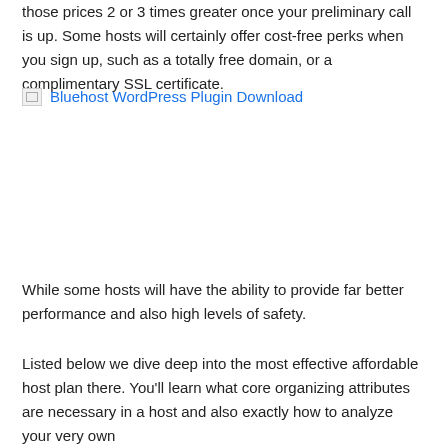those prices 2 or 3 times greater once your preliminary call is up. Some hosts will certainly offer cost-free perks when you sign up, such as a totally free domain, or a complimentary SSL certificate.
[Figure (other): Broken image placeholder with link text 'Bluehost WordPress Plugin Download']
While some hosts will have the ability to provide far better performance and also high levels of safety.
Listed below we dive deep into the most effective affordable host plan there. You'll learn what core organizing attributes are necessary in a host and also exactly how to analyze your very own